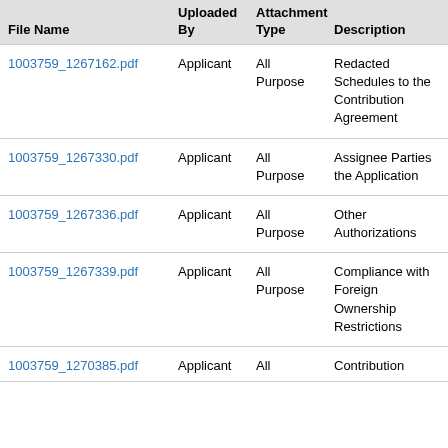| File Name | Uploaded By | Attachment Type | Description |
| --- | --- | --- | --- |
| 1003759_1267162.pdf | Applicant | All Purpose | Redacted Schedules to the Contribution Agreement |
| 1003759_1267330.pdf | Applicant | All Purpose | Assignee Parties the Application |
| 1003759_1267336.pdf | Applicant | All Purpose | Other Authorizations |
| 1003759_1267339.pdf | Applicant | All Purpose | Compliance with Foreign Ownership Restrictions |
| 1003759_1270385.pdf | Applicant | All | Contribution... |